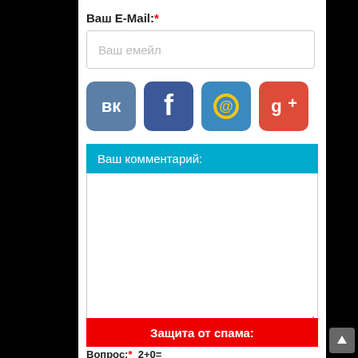Ваш E-Mail:*
Ваш емейл
[Figure (screenshot): Social media login icons: VK (blue), Facebook (dark blue), Mail.ru/email (blue with @), Google+ (red)]
Ваш комментарий:
Защита от спама:
Вопрос:* 2+0=